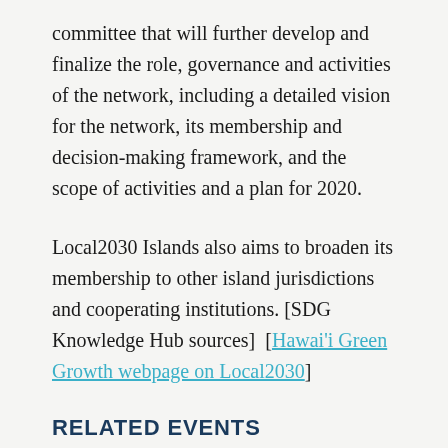committee that will further develop and finalize the role, governance and activities of the network, including a detailed vision for the network, its membership and decision-making framework, and the scope of activities and a plan for 2020.
Local2030 Islands also aims to broaden its membership to other island jurisdictions and cooperating institutions. [SDG Knowledge Hub sources] [Hawai'i Green Growth webpage on Local2030]
RELATED EVENTS